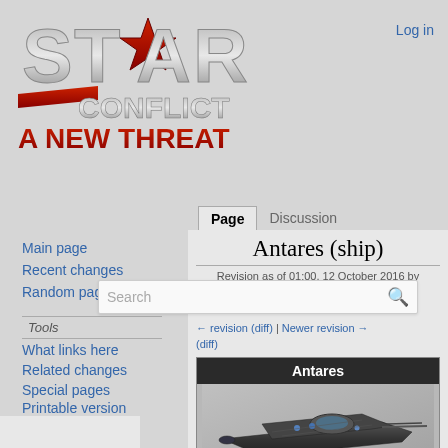[Figure (logo): Star Conflict: A New Threat game logo with metallic STAR text and red star icon]
Log in
Page  Discussion
Antares (ship)
Revision as of 01:00, 12 October 2016 by XKostvan (Talk | contribs)
Search
← revision (diff) | Newer revision → (diff)
Main page
Recent changes
Random page
Tools
What links here
Related changes
Special pages
Printable version
Permanent link
Page information
[Figure (illustration): Dark sci-fi spaceship (Antares) — a dark angular spacecraft with blue accent lights viewed from the side]
Antares